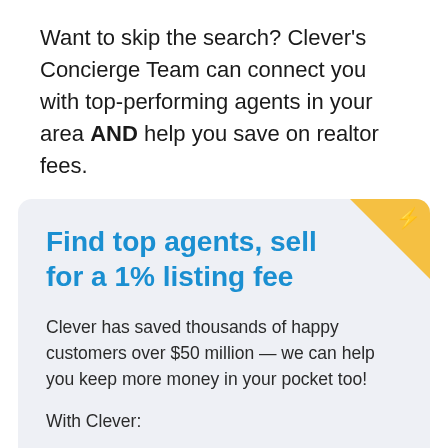Want to skip the search? Clever's Concierge Team can connect you with top-performing agents in your area AND help you save on realtor fees.
[Figure (infographic): Promotional card with light gray background and gold lightning bolt corner badge. Contains heading 'Find top agents, sell for a 1% listing fee' in blue bold text, followed by body text about Clever saving customers over $50 million, and 'With Clever:' subheading, with partial text 'Sellers pay only 1% in listing fees' at the bottom.]